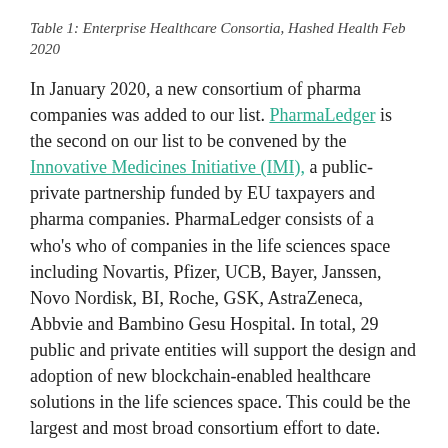Table 1: Enterprise Healthcare Consortia, Hashed Health Feb 2020
In January 2020, a new consortium of pharma companies was added to our list. PharmaLedger is the second on our list to be convened by the Innovative Medicines Initiative (IMI), a public-private partnership funded by EU taxpayers and pharma companies. PharmaLedger consists of a who’s who of companies in the life sciences space including Novartis, Pfizer, UCB, Bayer, Janssen, Novo Nordisk, BI, Roche, GSK, AstraZeneca, Abbvie and Bambino Gesu Hospital. In total, 29 public and private entities will support the design and adoption of new blockchain-enabled healthcare solutions in the life sciences space. This could be the largest and most broad consortium effort to date.
Aside from the size and brand recognition of its members, the PharmaLedger network is notable because of its governance-first, use-case later approach. Instead of